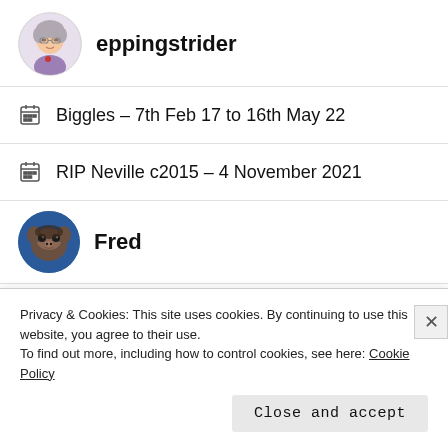[Figure (illustration): Circular avatar of user eppingstrider showing an illustrated elderly woman with gray hair and glasses]
eppingstrider
Biggles – 7th Feb 17 to 16th May 22
RIP Neville c2015 – 4 November 2021
[Figure (photo): Circular avatar of user Fred showing a guinea pig photo]
Fred
Equal night and day time
What is The Sea?
Privacy & Cookies: This site uses cookies. By continuing to use this website, you agree to their use.
To find out more, including how to control cookies, see here: Cookie Policy
Close and accept